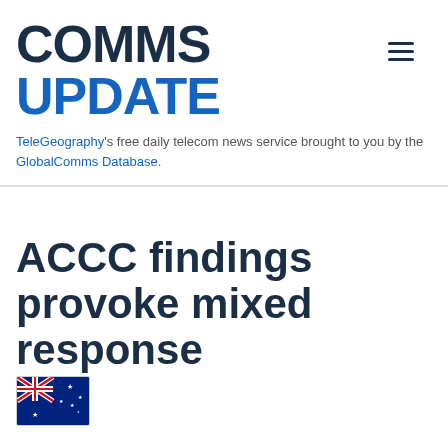COMMS UPDATE
TeleGeography's free daily telecom news service brought to you by the GlobalComms Database.
ACCC findings provoke mixed response
[Figure (illustration): Australian flag icon]